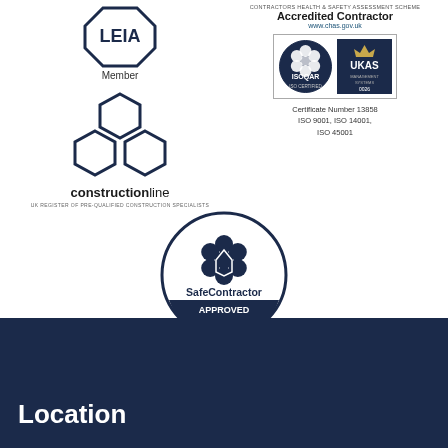[Figure (logo): LEIA Member logo - text LEIA in octagon shape with 'Member' text below]
[Figure (logo): Constructionline logo - hexagonal interlocking shapes with 'constructionline' text and 'UK REGISTER OF PRE-QUALIFIED CONSTRUCTION SPECIALISTS' below]
[Figure (logo): CHAS Accredited Contractor logo with ISOQAR and UKAS certification mark, Certificate Number 13858, ISO 9001, ISO 14001, ISO 45001]
[Figure (logo): SafeContractor APPROVED circular badge logo]
Location